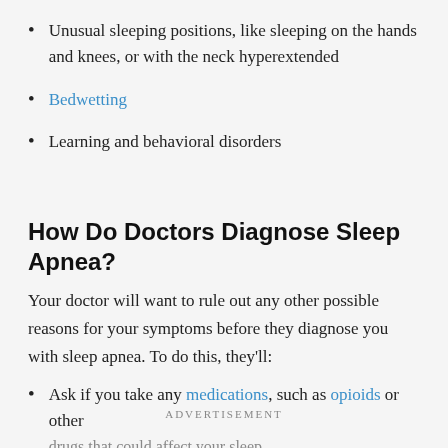Unusual sleeping positions, like sleeping on the hands and knees, or with the neck hyperextended
Bedwetting
Learning and behavioral disorders
How Do Doctors Diagnose Sleep Apnea?
Your doctor will want to rule out any other possible reasons for your symptoms before they diagnose you with sleep apnea. To do this, they'll:
Ask if you take any medications, such as opioids or other drugs that could affect your sleep